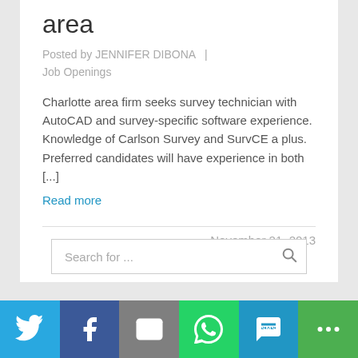area
Posted by JENNIFER DIBONA  |  Job Openings
Charlotte area firm seeks survey technician with AutoCAD and survey-specific software experience. Knowledge of Carlson Survey and SurvCE a plus. Preferred candidates will have experience in both [...]
Read more
November 21, 2013